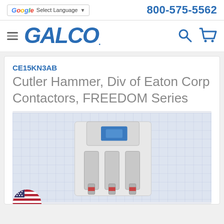[Figure (logo): Google Translate selector button with G logo and 'Select Language' text and dropdown arrow]
800-575-5562
[Figure (logo): GALCO wordmark logo in bold italic blue with hamburger menu icon, search icon, and shopping cart icon]
CE15KN3AB
Cutler Hammer, Div of Eaton Corp Contactors, FREEDOM Series
[Figure (photo): Photo of a Cutler Hammer CE15KN3AB contactor (FREEDOM Series) - a white/gray industrial electrical contactor sitting on a grid-lined surface]